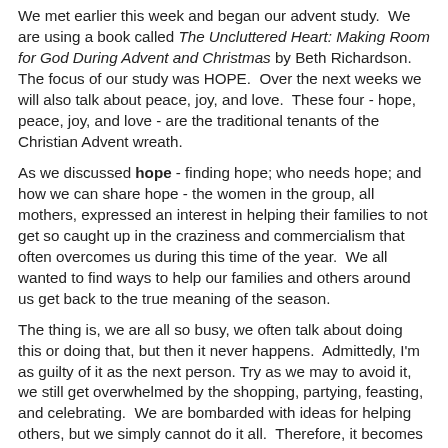We met earlier this week and began our advent study. We are using a book called The Uncluttered Heart: Making Room for God During Advent and Christmas by Beth Richardson. The focus of our study was HOPE. Over the next weeks we will also talk about peace, joy, and love. These four - hope, peace, joy, and love - are the traditional tenants of the Christian Advent wreath.
As we discussed hope - finding hope; who needs hope; and how we can share hope - the women in the group, all mothers, expressed an interest in helping their families to not get so caught up in the craziness and commercialism that often overcomes us during this time of the year. We all wanted to find ways to help our families and others around us get back to the true meaning of the season.
The thing is, we are all so busy, we often talk about doing this or doing that, but then it never happens. Admittedly, I'm as guilty of it as the next person. Try as we may to avoid it, we still get overwhelmed by the shopping, partying, feasting, and celebrating. We are bombarded with ideas for helping others, but we simply cannot do it all. Therefore, it becomes